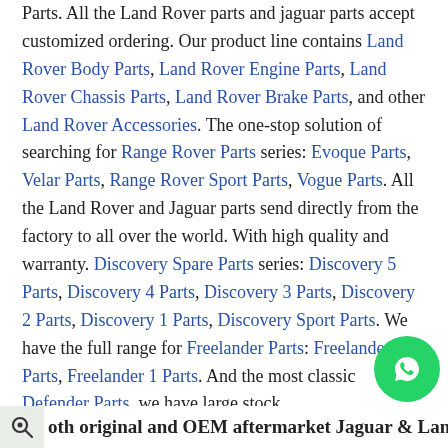Parts. All the Land Rover parts and jaguar parts accept customized ordering. Our product line contains Land Rover Body Parts, Land Rover Engine Parts, Land Rover Chassis Parts, Land Rover Brake Parts, and other Land Rover Accessories. The one-stop solution of searching for Range Rover Parts series: Evoque Parts, Velar Parts, Range Rover Sport Parts, Vogue Parts. All the Land Rover and Jaguar parts send directly from the factory to all over the world. With high quality and warranty. Discovery Spare Parts series: Discovery 5 Parts, Discovery 4 Parts, Discovery 3 Parts, Discovery 2 Parts, Discovery 1 Parts, Discovery Sport Parts. We have the full range for Freelander Parts: Freelander 2 Parts, Freelander 1 Parts. And the most classic Defender Parts, we have large stock.
both original and OEM aftermarket Jaguar & Land